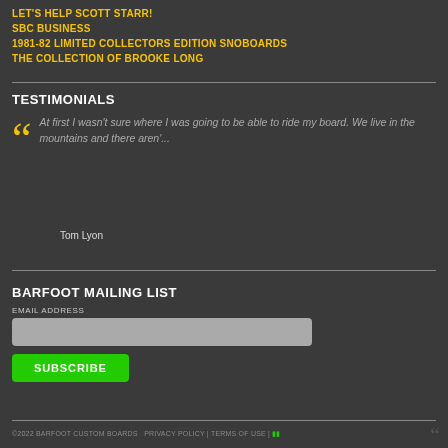LET'S HELP SCOTT STARR!
SBC BUSINESS
1981-82 LIMITED COLLECTORS EDITION SNOBOARDS
THE COLLECTION OF BROOKE LONG
TESTIMONIALS
At first I wasn't sure where I was going to be able to ride my board. We live in the mountains and there aren'...
Tom Lyon
BARFOOT MAILING LIST
EMAIL ADDRESS
©2022 BARFOOT CUSTOM BOARDS  PRIVACY POLICY | TERMS OF USE |